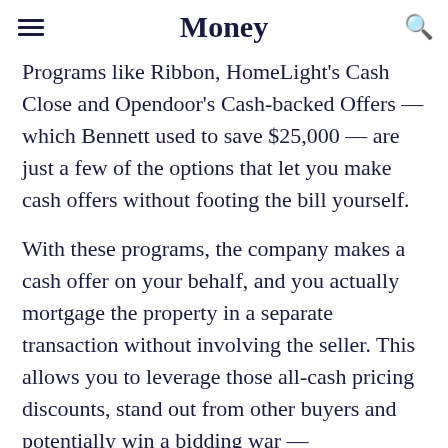Money
Programs like Ribbon, HomeLight's Cash Close and Opendoor's Cash-backed Offers — which Bennett used to save $25,000 — are just a few of the options that let you make cash offers without footing the bill yourself.
With these programs, the company makes a cash offer on your behalf, and you actually mortgage the property in a separate transaction without involving the seller. This allows you to leverage those all-cash pricing discounts, stand out from other buyers and potentially win a bidding war —